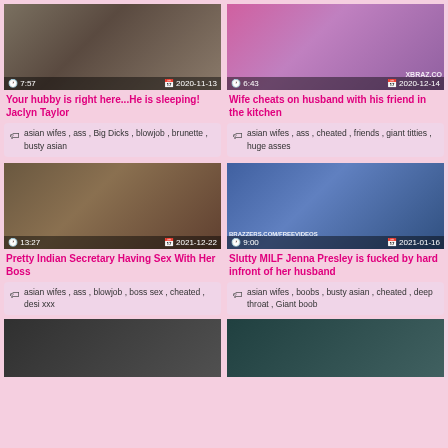[Figure (photo): Video thumbnail with duration 7:57 and date 2020-11-13]
Your hubby is right here...He is sleeping! Jaclyn Taylor
asian wifes , ass , Big Dicks , blowjob , brunette , busty asian
[Figure (photo): Video thumbnail with duration 6:43 and date 2020-12-14, xbraz.co watermark]
Wife cheats on husband with his friend in the kitchen
asian wifes , ass , cheated , friends , giant titties , huge asses
[Figure (photo): Video thumbnail with duration 13:27 and date 2021-12-22]
Pretty Indian Secretary Having Sex With Her Boss
asian wifes , ass , blowjob , boss sex , cheated , desi xxx
[Figure (photo): Video thumbnail with duration 9:00 and date 2021-01-16, BRAZZERS.COM/FREEVIDEOS watermark]
Slutty MILF Jenna Presley is fucked by hard infront of her husband
asian wifes , boobs , busty asian , cheated , deep throat , Giant boob
[Figure (photo): Bottom left partial video thumbnail]
[Figure (photo): Bottom right partial video thumbnail]